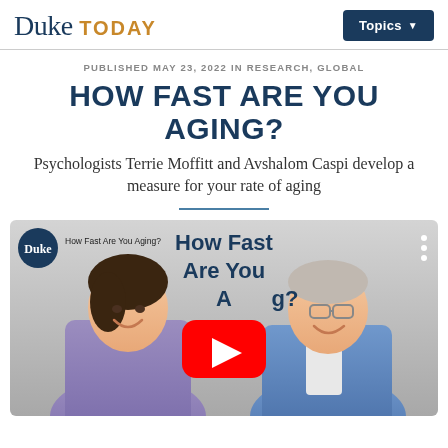Duke TODAY | Topics
PUBLISHED MAY 23, 2022 IN RESEARCH, GLOBAL
HOW FAST ARE YOU AGING?
Psychologists Terrie Moffitt and Avshalom Caspi develop a measure for your rate of aging
[Figure (screenshot): YouTube video thumbnail showing two people (a woman in purple shirt on the left and a man in blue jacket on the right) with the text 'How Fast Are You Aging?' overlaid and a YouTube play button in the center. Duke logo visible in top left corner of the video.]